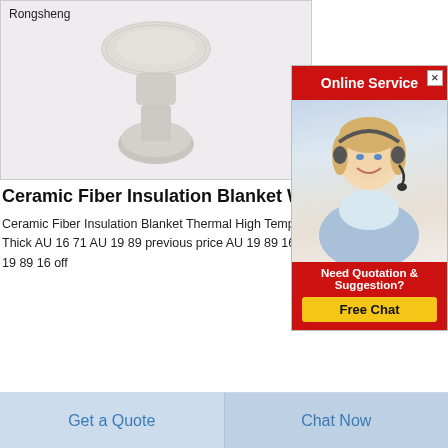[Figure (photo): Product image of ceramic fiber powder in a glass vase shape on light gray background with Rongsheng label]
Ceramic Fiber Insulation Blanket Wool
Ceramic Fiber Insulation Blanket Thermal High Temperature Thick AU 16 71 AU 19 89 previous price AU 19 89 16 off 19 89 16 off
[Figure (photo): Online Service advertisement with a blonde woman wearing a headset, red header saying Online Service, and a Free Chat button with Need Quotation & Suggestion text]
[Figure (photo): Partial view of a dark product at the bottom of the page]
Get a Quote
Chat Now